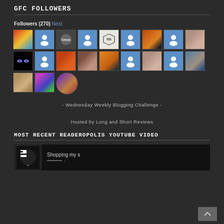GFC FOLLOWERS
Followers (270) Next
[Figure (other): Grid of 21 follower avatar thumbnails showing profile photos and default blue user icons for GFC (Google Friend Connect) followers]
- Wednesday Weekly Blogging Challenge -
Hosted by Long and Short Reviews
MOST RECENT READEROPOLIS YOUTUBE VIDEO
[Figure (screenshot): YouTube video thumbnail showing a building/cityscape logo and text 'Shopping my s' with media controls]